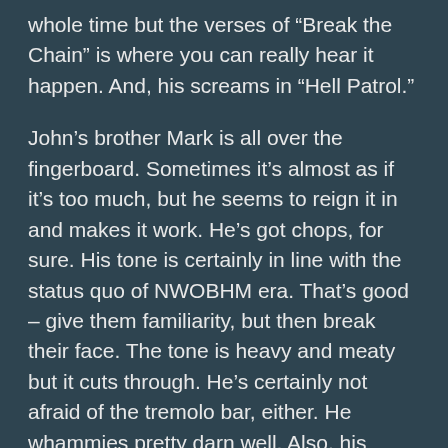whole time but the verses of “Break the Chain” is where you can really hear it happen. And, his screams in “Hell Patrol.”
John’s brother Mark is all over the fingerboard. Sometimes it’s almost as if it’s too much, but he seems to reign it in and makes it work. He’s got chops, for sure. His tone is certainly in line with the status quo of NWOBHM era. That’s good – give them familiarity, but then break their face. The tone is heavy and meaty but it cuts through. He’s certainly not afraid of the tremolo bar, either. He whammies pretty darn well. Also, his pinch harmonics are pretty mean.
Future Harry Connick, Jr. audio engineer, Rob